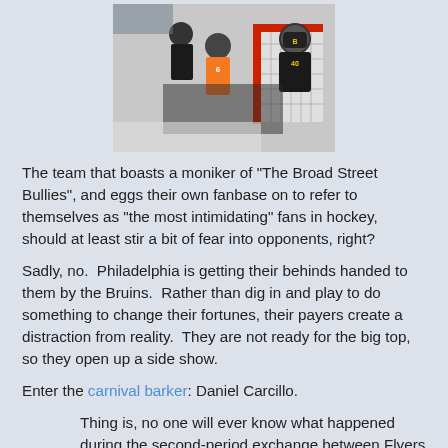[Figure (photo): Hockey players in action, featuring Philadelphia Flyers and Boston Bruins players near a goal, including a goalie in Bruins gear]
The team that boasts a moniker of "The Broad Street Bullies", and eggs their own fanbase on to refer to themselves as "the most intimidating" fans in hockey, should at least stir a bit of fear into opponents, right?
Sadly, no.  Philadelphia is getting their behinds handed to them by the Bruins.  Rather than dig in and play to do something to change their fortunes, their payers create a distraction from reality.  They are not ready for the big top, so they open up a side show.
Enter the carnival barker: Daniel Carcillo.
Thing is, no one will ever know what happened during the second-period exchange between Flyers agitator Daniel Carcillo and Boston Bruins forward Marc Savard because there were so